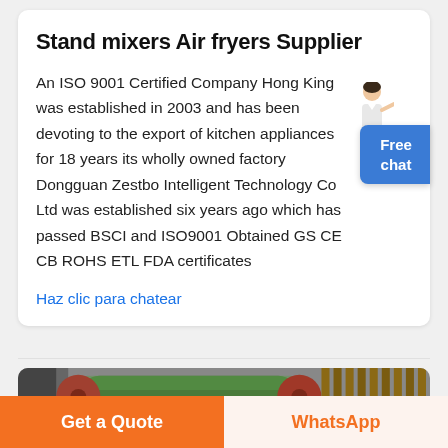Stand mixers Air fryers Supplier
An ISO 9001 Certified Company Hong King was established in 2003 and has been devoting to the export of kitchen appliances for 18 years its wholly owned factory Dongguan Zestbo Intelligent Technology Co Ltd was established six years ago which has passed BSCI and ISO9001 Obtained GS CE CB ROHS ETL FDA certificates
Haz clic para chatear
[Figure (photo): Industrial machinery with green and red cylindrical rollers in a factory setting]
Get a Quote
WhatsApp